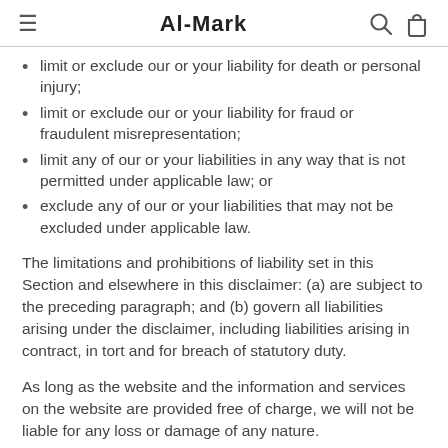Al-Mark
limit or exclude our or your liability for death or personal injury;
limit or exclude our or your liability for fraud or fraudulent misrepresentation;
limit any of our or your liabilities in any way that is not permitted under applicable law; or
exclude any of our or your liabilities that may not be excluded under applicable law.
The limitations and prohibitions of liability set in this Section and elsewhere in this disclaimer: (a) are subject to the preceding paragraph; and (b) govern all liabilities arising under the disclaimer, including liabilities arising in contract, in tort and for breach of statutory duty.
As long as the website and the information and services on the website are provided free of charge, we will not be liable for any loss or damage of any nature.